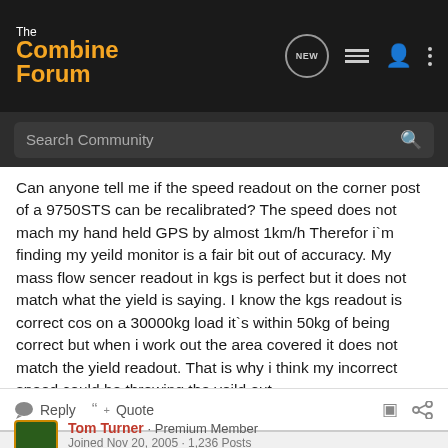The Combine Forum
Search Community
Can anyone tell me if the speed readout on the corner post of a 9750STS can be recalibrated? The speed does not mach my hand held GPS by almost 1km/h Therefor i`m finding my yeild monitor is a fair bit out of accuracy. My mass flow sencer readout in kgs is perfect but it does not match what the yield is saying. I know the kgs readout is correct cos on a 30000kg load it`s within 50kg of being correct but when i work out the area covered it does not match the yield readout. That is why i think my incorrect speed could be throwing the yeild out.
Any other ideas anyone?????
Reply   Quote
Tom Turner · Premium Member
Joined Nov 20, 2005 · 1,236 Posts